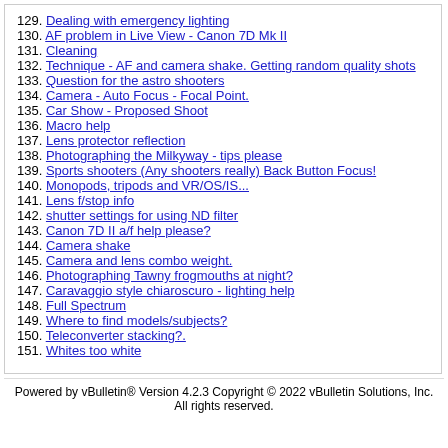129. Dealing with emergency lighting
130. AF problem in Live View - Canon 7D Mk II
131. Cleaning
132. Technique - AF and camera shake. Getting random quality shots
133. Question for the astro shooters
134. Camera - Auto Focus - Focal Point.
135. Car Show - Proposed Shoot
136. Macro help
137. Lens protector reflection
138. Photographing the Milkyway - tips please
139. Sports shooters (Any shooters really) Back Button Focus!
140. Monopods, tripods and VR/OS/IS...
141. Lens f/stop info
142. shutter settings for using ND filter
143. Canon 7D II a/f help please?
144. Camera shake
145. Camera and lens combo weight.
146. Photographing Tawny frogmouths at night?
147. Caravaggio style chiaroscuro - lighting help
148. Full Spectrum
149. Where to find models/subjects?
150. Teleconverter stacking?.
151. Whites too white
Powered by vBulletin® Version 4.2.3 Copyright © 2022 vBulletin Solutions, Inc. All rights reserved.